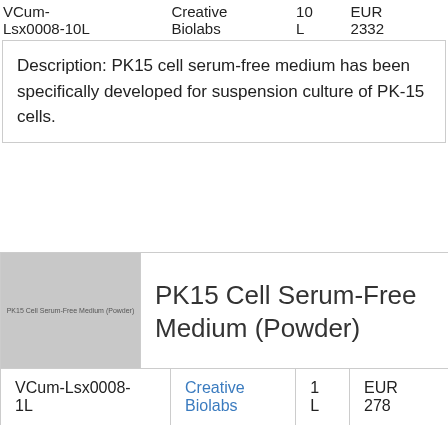| Product ID | Supplier | Volume | Price |
| --- | --- | --- | --- |
| VCum-Lsx0008-10L | Creative Biolabs | 10 L | EUR 2332 |
| Description: PK15 cell serum-free medium has been specifically developed for suspension culture of PK-15 cells. |  |  |  |
[Figure (photo): Product image placeholder for PK15 Cell Serum-Free Medium (Powder) showing a grey placeholder with text 'PK15 Cell Serum-Free Medium (Powder)']
PK15 Cell Serum-Free Medium (Powder)
| Product ID | Supplier | Volume | Price |
| --- | --- | --- | --- |
| VCum-Lsx0008-1L | Creative Biolabs | 1 L | EUR 278 |